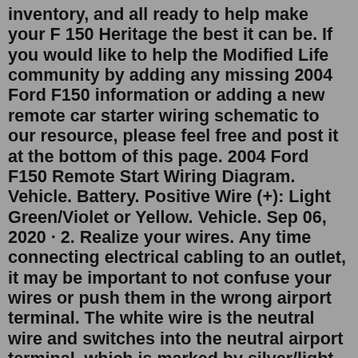inventory, and all ready to help make your F 150 Heritage the best it can be. If you would like to help the Modified Life community by adding any missing 2004 Ford F150 information or adding a new remote car starter wiring schematic to our resource, please feel free and post it at the bottom of this page. 2004 Ford F150 Remote Start Wiring Diagram. Vehicle. Battery. Positive Wire (+): Light Green/Violet or Yellow. Vehicle. Sep 06, 2020 · 2. Realize your wires. Any time connecting electrical cabling to an outlet, it may be important to not confuse your wires or push them in the wrong airport terminal. The white wire is the neutral wire and switches into the neutral airport terminal, which is marked by silver/light-colored anchoring screws. Insert your finger in the lever boot hole to remove the top half lid of steering in the rearward direction. Remove the bolts attach to the lower half of the shroud. While pushing the brake pedal, drag the white disc in the passenger seat direction, and convert the column shifter to neutral. Now try to start your vehicle. Oct 17, 2012 · The